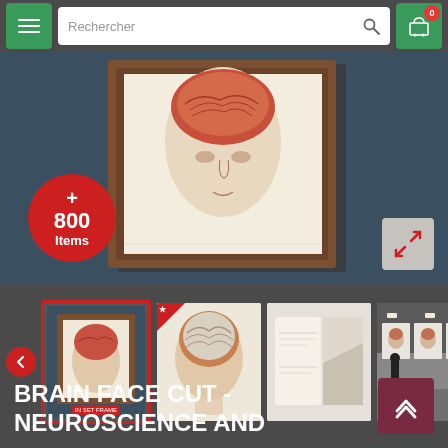[Figure (screenshot): Mobile e-commerce app screenshot showing navigation bar with hamburger menu, search field labeled 'Rechercher', and cart button with badge '0']
[Figure (photo): Hero banner showing a framed anatomical illustration of a human head with brain cross-section, displayed against dark blue-grey background. Red circle badge reads '+ 800 Items'. Expand icon in bottom-right corner.]
[Figure (photo): Thumbnail row with left/right navigation arrows and four product thumbnails: framed brain illustration (selected with red border), brain cross-section poster, brochure/catalog mockup, exhibition display mockup]
BRAIN FACE CUT - NEUROSCIENCE AND